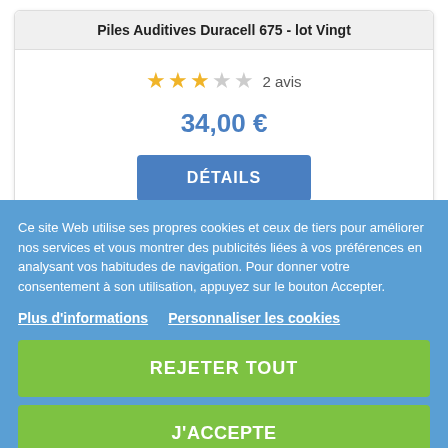Piles Auditives Duracell 675 - lot Vingt
[Figure (other): Star rating: 3 out of 5 stars, 2 avis]
34,00 €
DÉTAILS
Ce site Web utilise ses propres cookies et ceux de tiers pour améliorer nos services et vous montrer des publicités liées à vos préférences en analysant vos habitudes de navigation. Pour donner votre consentement à son utilisation, appuyez sur le bouton Accepter.
Plus d'informations   Personnaliser les cookies
REJETER TOUT
J'ACCEPTE